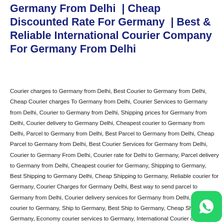Germany From Delhi | Cheap Discounted Rate For Germany | Best & Reliable International Courier Company For Germany From Delhi
Courier charges to Germany from Delhi, Best Courier to Germany from Delhi, Cheap Courier charges To Germany from Delhi, Courier Services to Germany from Delhi, Courier to Germany from Delhi, Shipping prices for Germany from Delhi, Courier delivery to Germany Delhi, Cheapest courier to Germany from Delhi, Parcel to Germany from Delhi, Best Parcel to Germany from Delhi, Cheap Parcel to Germany from Delhi, Best Courier Services for Germany from Delhi, Courier to Germany From Delhi, Courier rate for Delhi to Germany, Parcel delivery to Germany from Delhi, Cheapest courier for Germany, Shipping to Germany, Best Shipping to Germany Delhi, Cheap Shipping to Germany, Reliable courier for Germany, Courier Charges for Germany Delhi, Best way to send parcel to Germany from Delhi, Courier delivery services for Germany from Delhi, Cheapest courier to Germany, Ship to Germany, Best Ship to Germany, Cheap Ship to Germany, Economy courier services to Germany, International Courier charges to Germany From Delhi, Best cargo agent to Germany from Delhi, Fastest courier services for Germany, Parcel charges for Germany, Rates to sending parcel to Germany from New Delhi, Cargo agents for Germany from Delhi, Cheapest courier delivery to Germany, courier to Germany from Delhi, DHL, Other Company, TNT, UPS.
[Figure (illustration): WhatsApp icon — green rounded square with white phone handset SVG]